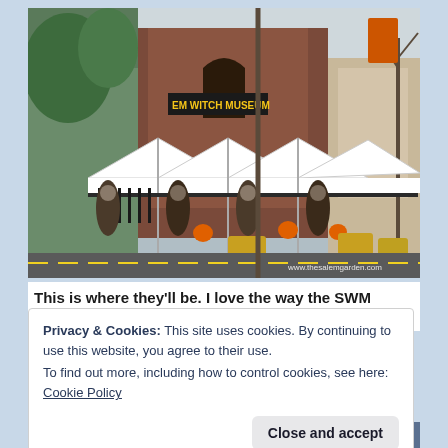[Figure (photo): Street scene in front of the Salem Witch Museum. A large brownstone Gothic-style building with a sign reading 'EM WITCH MUSEUM' visible. White vendor tents/canopies line the street in front of a wrought-iron fence decorated with fall/Halloween decorations including scarecrows, hay bales, and orange pumpkins. A street pole is visible and bare trees on the right. Watermark: www.thesalemgarden.com]
This is where they'll be. I love the way the SWM provides
Privacy & Cookies: This site uses cookies. By continuing to use this website, you agree to their use.
To find out more, including how to control cookies, see here: Cookie Policy
Close and accept